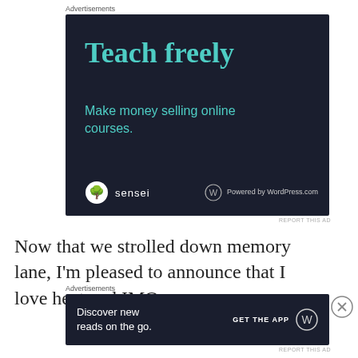Advertisements
[Figure (infographic): Dark navy advertisement banner for Sensei/WordPress.com with teal text reading 'Teach freely' and subtitle 'Make money selling online courses.' with Sensei logo and 'Powered by WordPress.com' at bottom.]
REPORT THIS AD
Now that we strolled down memory lane, I'm pleased to announce that I love heat and IMO
Advertisements
[Figure (infographic): Dark navy bottom banner advertisement reading 'Discover new reads on the go.' with 'GET THE APP' button and WordPress logo.]
REPORT THIS AD